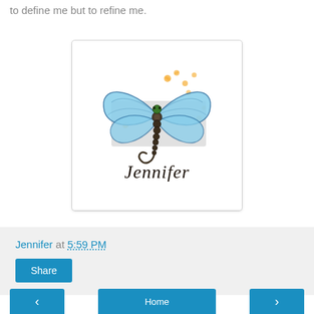to define me but to refine me.
[Figure (illustration): A dragonfly illustration with blue wings, a dark beaded body, and orange flower accents. Below the dragonfly is the name 'Jennifer' in decorative script. The image is inside a white rounded card with a subtle shadow.]
Jennifer at 5:59 PM
Share
< Home >